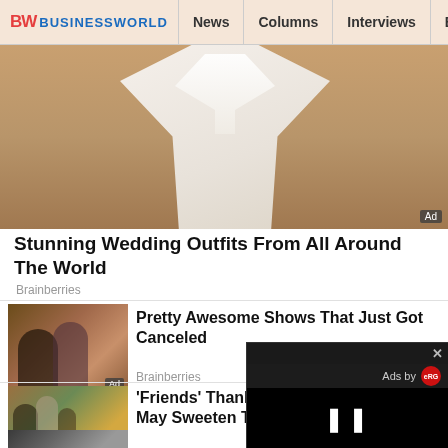BW BUSINESSWORLD | News | Columns | Interviews | BW
[Figure (photo): Person wearing a white wedding robe/outfit, upper body visible against warm background. Ad badge in bottom right corner.]
Stunning Wedding Outfits From All Around The World
Brainberries
[Figure (photo): Two people posing together, TV show promotional image. Ad badge in bottom right corner.]
Pretty Awesome Shows That Just Got Canceled
Brainberries
[Figure (photo): Group of people in a scene from Friends TV show. Ad badge in bottom right corner.]
'Friends' Thanksgiving Episodes May Sweeten The Holiday
Brainberries
[Figure (photo): People in a fight scene, MCU related. Ad badge in bottom right corner.]
The 8 Best Fight Scenes In The MCU
Brainberries
[Figure (screenshot): Video ad overlay popup in bottom right corner showing 'Ads by' branding with red logo and pause button on black background]